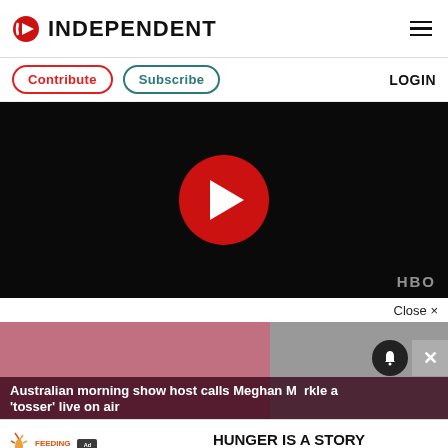INDEPENDENT
Contribute  Subscribe  LOGIN
[Figure (screenshot): Dark video player with red play button circle and HBO watermark]
Close ×
[Figure (photo): Article thumbnail showing people with dark overlay and title: Australian morning show host calls Meghan Markle a 'tosser' live on air]
Australian morning show host calls Meghan Markle a 'tosser' live on air
[Figure (infographic): Feeding America Ad Council advertisement: HUNGER IS A STORY WE CAN END.]